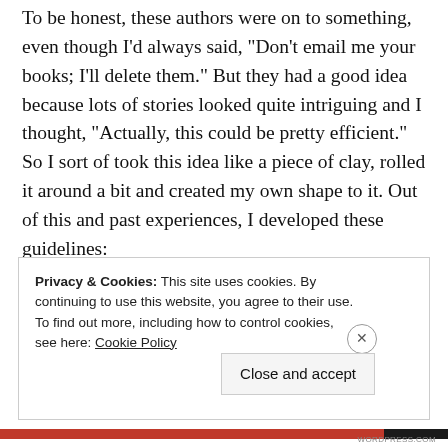To be honest, these authors were on to something, even though I'd always said, “Don’t email me your books; I’ll delete them.” But they had a good idea because lots of stories looked quite intriguing and I thought, “Actually, this could be pretty efficient.” So I sort of took this idea like a piece of clay, rolled it around a bit and created my own shape to it. Out of this and past experiences, I developed these guidelines:
Privacy & Cookies: This site uses cookies. By continuing to use this website, you agree to their use. To find out more, including how to control cookies, see here: Cookie Policy
Close and accept